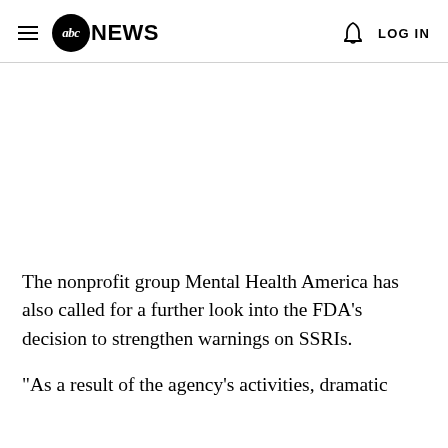abc NEWS  LOG IN
The nonprofit group Mental Health America has also called for a further look into the FDA's decision to strengthen warnings on SSRIs.
"As a result of the agency's activities, dramatic